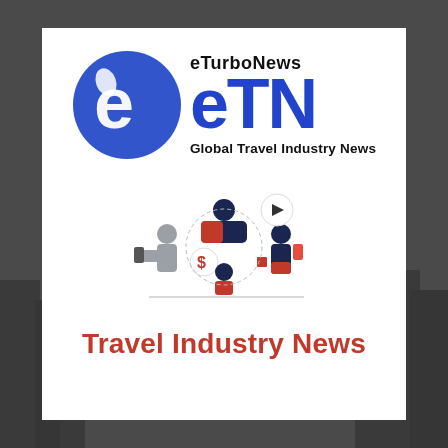[Figure (logo): eTurboNews eTN logo — blue circle with white 'e' and highlight, with 'eTurboNews' wordmark above large blue 'eTN' letters, and 'Global Travel Industry News' subtitle]
[Figure (illustration): Cartoon illustration of three people collaborating around digital content — video play button, dollar sign coin, smartphone — in red, navy and grey color scheme]
Travel Industry News